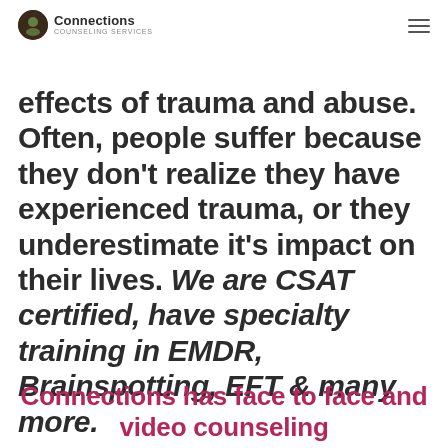Connections Counseling Services
effects of trauma and abuse. Often, people suffer because they don't realize they have experienced trauma, or they underestimate it's impact on their lives. We are CSAT certified, have specialty training in EMDR, Brainspotting, EFT & many more.
Connections has face to face and video counseling